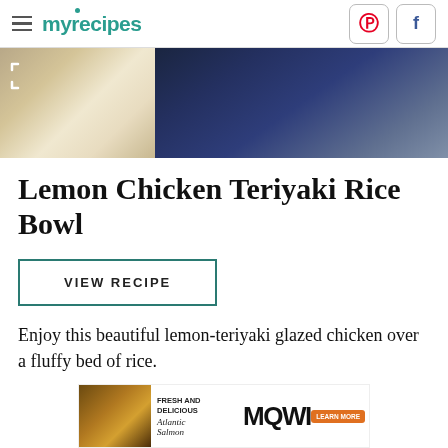myrecipes
[Figure (photo): Hero image showing a bowl of rice dish on the left and dark navy blue denim fabric on the right with a corner expand/fullscreen icon overlay]
Lemon Chicken Teriyaki Rice Bowl
VIEW RECIPE
Enjoy this beautiful lemon-teriyaki glazed chicken over a fluffy bed of rice.
[Figure (infographic): Advertisement banner for MOWI Atlantic Salmon with food image, text reading FRESH AND DELICIOUS, Atlantic Salmon in handwriting, MOWI logo, and LEARN MORE button]